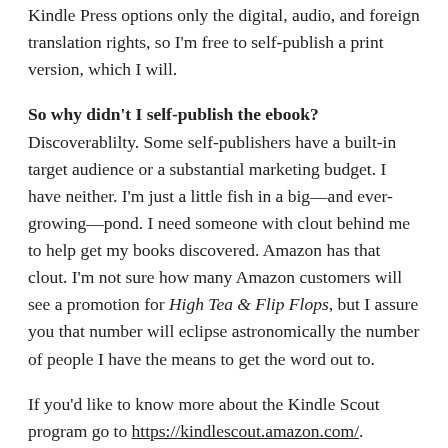Kindle Press options only the digital, audio, and foreign translation rights, so I'm free to self-publish a print version, which I will.
So why didn't I self-publish the ebook? Discoverablilty. Some self-publishers have a built-in target audience or a substantial marketing budget. I have neither. I'm just a little fish in a big—and ever-growing—pond. I need someone with clout behind me to help get my books discovered. Amazon has that clout. I'm not sure how many Amazon customers will see a promotion for High Tea & Flip Flops, but I assure you that number will eclipse astronomically the number of people I have the means to get the word out to.
If you'd like to know more about the Kindle Scout program go to https://kindlescout.amazon.com/.
Stay tuned here for the latest news on High Tea & Flip Flops